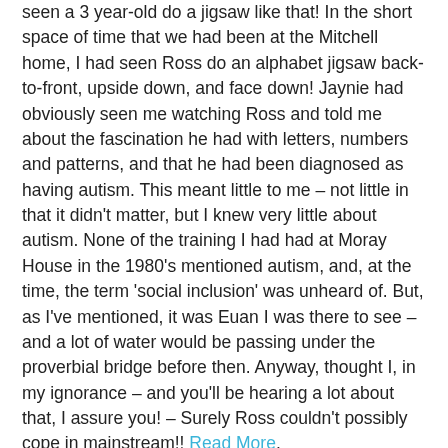seen a 3 year-old do a jigsaw like that! In the short space of time that we had been at the Mitchell home, I had seen Ross do an alphabet jigsaw back-to-front, upside down, and face down! Jaynie had obviously seen me watching Ross and told me about the fascination he had with letters, numbers and patterns, and that he had been diagnosed as having autism. This meant little to me – not little in that it didn't matter, but I knew very little about autism. None of the training I had had at Moray House in the 1980's mentioned autism, and, at the time, the term 'social inclusion' was unheard of. But, as I've mentioned, it was Euan I was there to see – and a lot of water would be passing under the proverbial bridge before then. Anyway, thought I, in my ignorance – and you'll be hearing a lot about that, I assure you! – Surely Ross couldn't possibly cope in mainstream!! Read More.